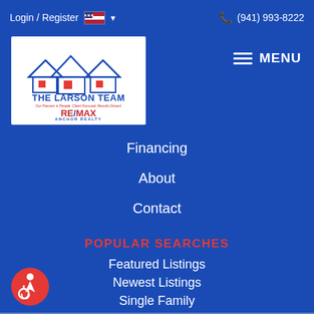Login / Register  🇺🇸 ▾  (941) 993-8222
[Figure (logo): The Larson Team RE/MAX Anchor Realty logo — two house outlines in blue with red accents, company name in bold blue letters, tagline in red italic, RE/MAX in red and blue, Anchor Realty below]
MENU
Financing
About
Contact
POPULAR SEARCHES
Featured Listings
Newest Listings
Single Family
Condos & Townhomes
Luxury Homes